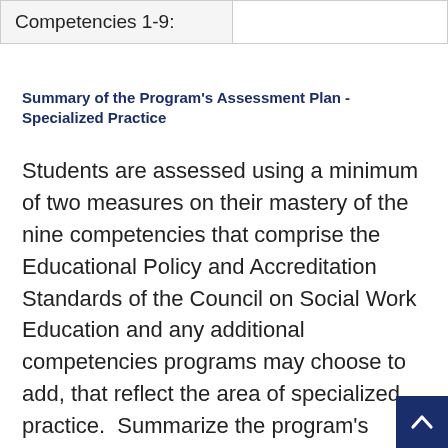| Competencies 1-9: |  |
Summary of the Program's Assessment Plan - Specialized Practice
Students are assessed using a minimum of two measures on their mastery of the nine competencies that comprise the Educational Policy and Accreditation Standards of the Council on Social Work Education and any additional competencies programs may choose to add, that reflect the area of specialized practice.  Summarize the program's competency-based assessment plan.  Programs may add/de…